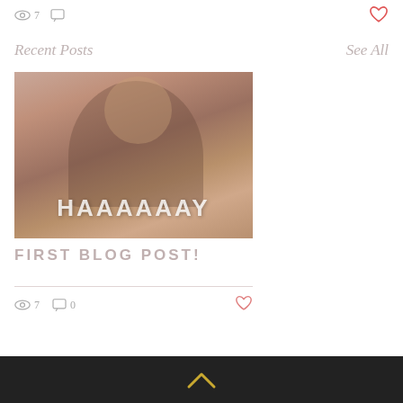7 views, comments icon, heart icon (top bar)
Recent Posts
See All
[Figure (photo): A man in a suit and pink bow tie smiling and raising his arm, with the text HAAAAAAY overlaid in white bold caps]
FIRST BLOG POST!
7 views, 0 comments, heart icon (post stats)
[Figure (other): Dark footer bar with a yellow/gold chevron/arrow up icon]